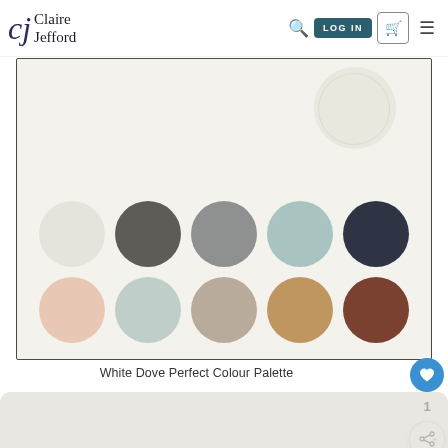cj Claire Jefford
[Figure (illustration): Color palette card showing 10 paint color swatches arranged in 2 rows of 5 circles: top row has off-white, charcoal gray, medium gray, soft teal, dark navy; bottom row has blush pink, sage green, warm beige, tan/gold, chocolate brown]
White Dove Perfect Colour Palette